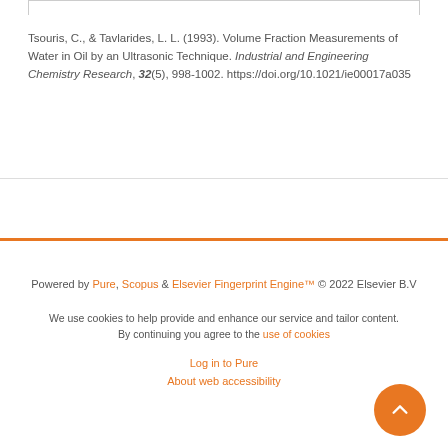Tsouris, C., & Tavlarides, L. L. (1993). Volume Fraction Measurements of Water in Oil by an Ultrasonic Technique. Industrial and Engineering Chemistry Research, 32(5), 998-1002. https://doi.org/10.1021/ie00017a035
Powered by Pure, Scopus & Elsevier Fingerprint Engine™ © 2022 Elsevier B.V
We use cookies to help provide and enhance our service and tailor content. By continuing you agree to the use of cookies
Log in to Pure
About web accessibility